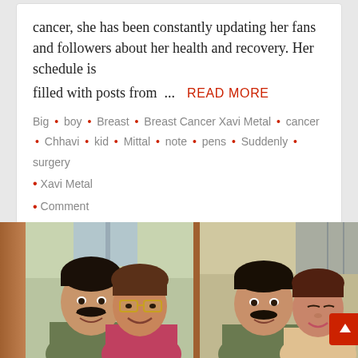cancer, she has been constantly updating her fans and followers about her health and recovery. Her schedule is
filled with posts from ... READ MORE
Big • boy • Breast • Breast Cancer Xavi Metal • cancer • Chhavi • kid • Mittal • note • pens • Suddenly • surgery • Xavi Metal
Comment
[Figure (photo): Two side-by-side photos of a man with a moustache posing with a woman. In the left photo the woman wears glasses and both are smiling. In the right photo the woman leans her head against the man.]